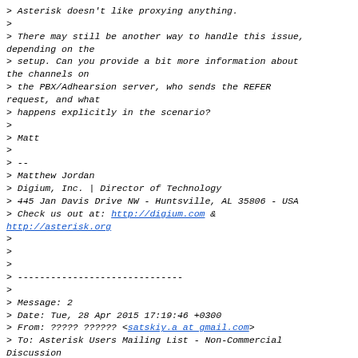> Asterisk doesn't like proxying anything.
>
> There may still be another way to handle this issue, depending on the
> setup. Can you provide a bit more information about the channels on
> the PBX/Adhearsion server, who sends the REFER request, and what
> happens explicitly in the scenario?
>
> Matt
>
> --
> Matthew Jordan
> Digium, Inc. | Director of Technology
> 445 Jan Davis Drive NW - Huntsville, AL 35806 - USA
> Check us out at: http://digium.com & http://asterisk.org
>
>
>
> ------------------------------
>
> Message: 2
> Date: Tue, 28 Apr 2015 17:19:46 +0300
> From: ????? ?????? <satskiy.a at gmail.com>
> To: Asterisk Users Mailing List - Non-Commercial Discussion
>        <asterisk-users at lists.digium.com>
> Subject: [asterisk-users] hi list need your help